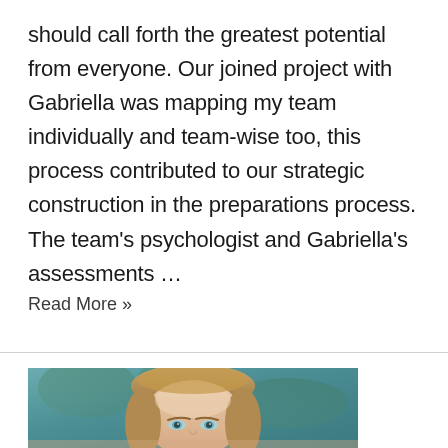should call forth the greatest potential from everyone. Our joined project with Gabriella was mapping my team individually and team-wise too, this process contributed to our strategic construction in the preparations process. The team's psychologist and Gabriella's assessments …
Read More »
[Figure (photo): Portrait photo of a woman with blonde hair and blue eyes, photographed against a blurred green background. Only the top portion of her face and head is visible.]